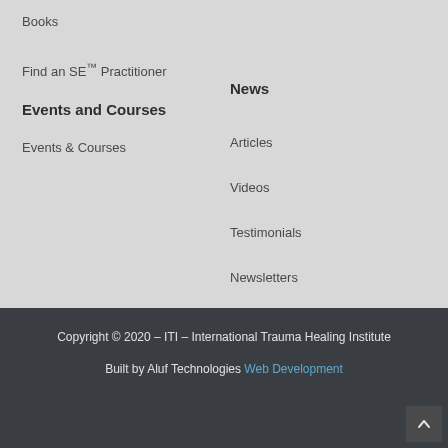Books
Find an SE™ Practitioner
Events and Courses
Events & Courses
News
Articles
Videos
Testimonials
Newsletters
Copyright © 2020 – ITI – International Trauma Healing Institute
Built by Aluf Technologies Web Development